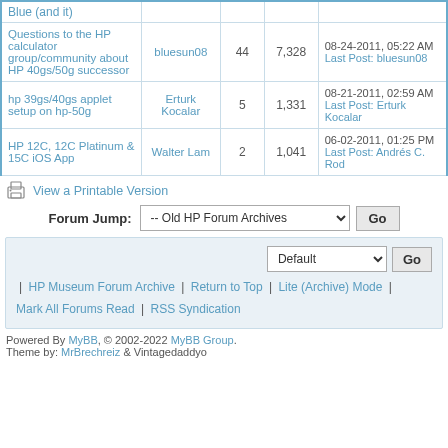| Topic | Author | Replies | Views | Last Post |
| --- | --- | --- | --- | --- |
| Blue (and it) |  |  |  |  |
| Questions to the HP calculator group/community about HP 40gs/50g successor | bluesun08 | 44 | 7,328 | 08-24-2011, 05:22 AM
Last Post: bluesun08 |
| hp 39gs/40gs applet setup on hp-50g | Erturk Kocalar | 5 | 1,331 | 08-21-2011, 02:59 AM
Last Post: Erturk Kocalar |
| HP 12C, 12C Platinum & 15C iOS App | Walter Lam | 2 | 1,041 | 06-02-2011, 01:25 PM
Last Post: Andrés C. Rod |
View a Printable Version
Forum Jump: -- Old HP Forum Archives   Go
Default   Go
| HP Museum Forum Archive | Return to Top | Lite (Archive) Mode | Mark All Forums Read | RSS Syndication
Powered By MyBB, © 2002-2022 MyBB Group.
Theme by: MrBrechreiz & Vintagedaddyo